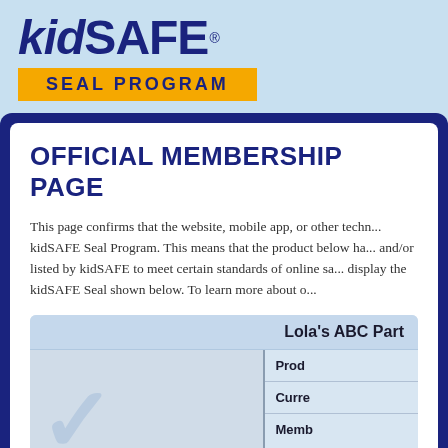[Figure (logo): kidSAFE Seal Program logo with dark blue 'kidSAFE' text and gold/yellow 'SEAL PROGRAM' banner]
OFFICIAL MEMBERSHIP PAGE
This page confirms that the website, mobile app, or other technology product listed below is a member of the kidSAFE Seal Program. This means that the product below has been reviewed and/or listed by kidSAFE to meet certain standards of online safety and is authorized to display the kidSAFE Seal shown below. To learn more about our program, please visit
|  |
| --- |
| Lola's ABC Part... |
| Prod... |
| Curre... |
| Memb... |